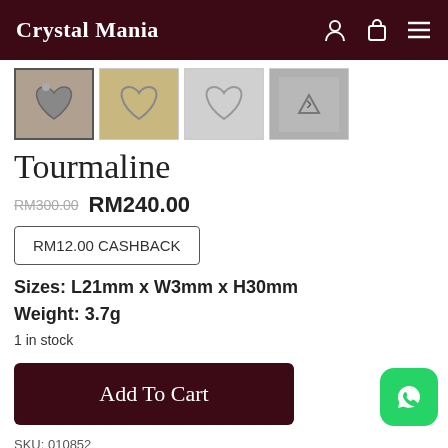Crystal Mania
[Figure (photo): Four product thumbnail images of a heart-shaped crystal/tourmaline pendant, with navigation arrow on the right]
Tourmaline
RM300.00 RM240.00
RM12.00 CASHBACK
Sizes: L21mm x W3mm x H30mm
Weight: 3.7g
1 in stock
Add To Cart
SKU: 010852